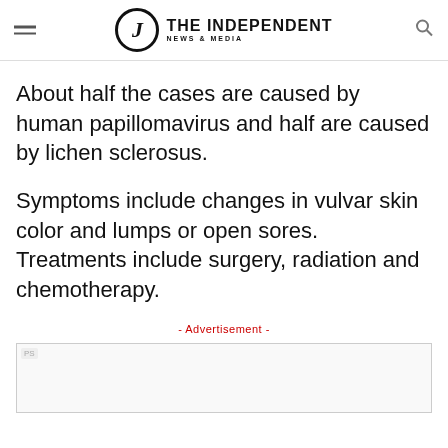THE INDEPENDENT NEWS & MEDIA
About half the cases are caused by human papillomavirus and half are caused by lichen sclerosus.
Symptoms include changes in vulvar skin color and lumps or open sores. Treatments include surgery, radiation and chemotherapy.
- Advertisement -
[Figure (other): Advertisement placeholder box with 'PS' tag in top-left corner]